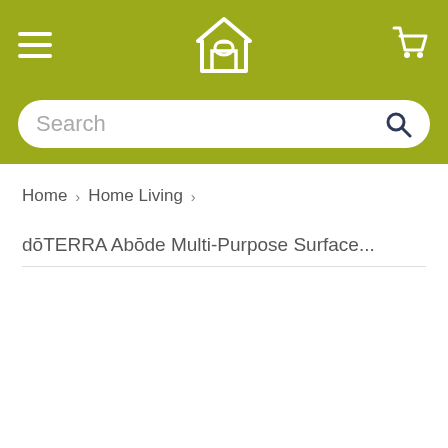dōTERRA navigation bar with hamburger menu, logo, and cart icon
Search
Home › Home Living ›
dōTERRA Abōde Multi-Purpose Surface...